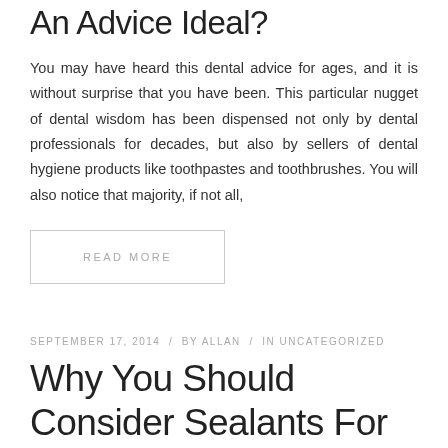An Advice Ideal?
You may have heard this dental advice for ages, and it is without surprise that you have been. This particular nugget of dental wisdom has been dispensed not only by dental professionals for decades, but also by sellers of dental hygiene products like toothpastes and toothbrushes. You will also notice that majority, if not all,
READ MORE
SEPTEMBER 17, 2014 / BY ALLAN / IN UNCATEGORIZED
Why You Should Consider Sealants For Your Teeth
If you have heard of dental sealants but do not know